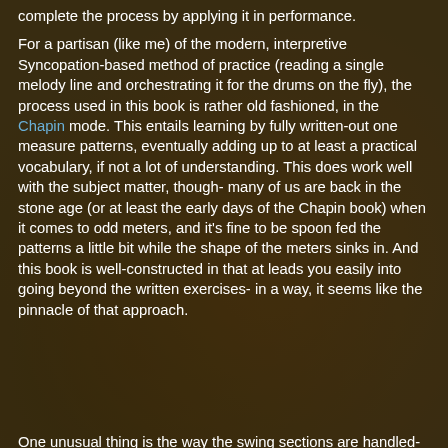complete the process by applying it in performance.
For a partisan (like me) of the modern, interpretive Syncopation-based method of practice (reading a single melody line and orchestrating it for the drums on the fly), the process used in this book is rather old fashioned, in the Chapin mode. This entails learning by fully written-out one measure patterns, eventually adding up to at least a practical vocabulary, if not a lot of understanding. This does work well with the subject matter, though- many of us are back in the stone age (or at least the early days of the Chapin book) when it comes to odd meters, and it's fine to be spoon fed the patterns a little bit while the shape of the meters sinks in. And this book is well-constructed in that at leads you easily into going beyond the written exercises- in a way, it seems like the pinnacle of that approach.
[Figure (photo): Background photo of a drum kit in a dimly lit room with warm amber/brown tones]
One unusual thing is the way the swing sections are handled- most of the coordination deals with just the feet and ride cymbal. This is actually appropriate, given that odd